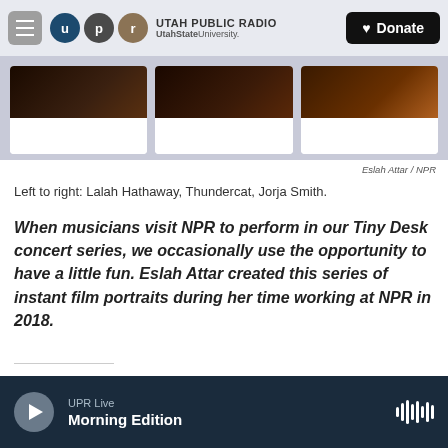Utah Public Radio — UtahState University. Donate
[Figure (photo): Three photo cards showing Lalah Hathaway, Thundercat, and Jorja Smith as instant film portraits, partially cropped at the top of the page]
Eslah Attar / NPR
Left to right: Lalah Hathaway, Thundercat, Jorja Smith.
When musicians visit NPR to perform in our Tiny Desk concert series, we occasionally use the opportunity to have a little fun. Eslah Attar created this series of instant film portraits during her time working at NPR in 2018.
UPR Live — Morning Edition